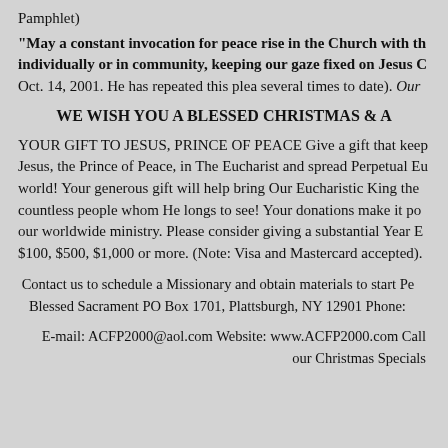Pamphlet)
"May a constant invocation for peace rise in the Church with the individually or in community, keeping our gaze fixed on Jesus C Oct. 14, 2001. He has repeated this plea several times to date). Our
WE WISH YOU A BLESSED CHRISTMAS & A
YOUR GIFT TO JESUS, PRINCE OF PEACE Give a gift that keep Jesus, the Prince of Peace, in The Eucharist and spread Perpetual Eu world! Your generous gift will help bring Our Eucharistic King the countless people whom He longs to see! Your donations make it po our worldwide ministry. Please consider giving a substantial Year E $100, $500, $1,000 or more. (Note: Visa and Mastercard accepted).
Contact us to schedule a Missionary and obtain materials to start Po Blessed Sacrament PO Box 1701, Plattsburgh, NY 12901 Phone:
E-mail: ACFP2000@aol.com Website: www.ACFP2000.com Call our Christmas Specials